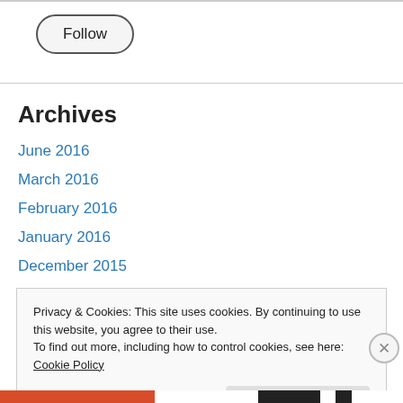[Figure (other): Follow button with rounded pill border]
Archives
June 2016
March 2016
February 2016
January 2016
December 2015
November 2015
Privacy & Cookies: This site uses cookies. By continuing to use this website, you agree to their use.
To find out more, including how to control cookies, see here: Cookie Policy
Close and accept